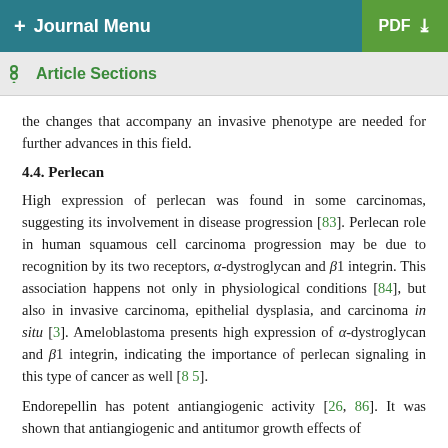+ Journal Menu  PDF ↓
Article Sections
the changes that accompany an invasive phenotype are needed for further advances in this field.
4.4. Perlecan
High expression of perlecan was found in some carcinomas, suggesting its involvement in disease progression [83]. Perlecan role in human squamous cell carcinoma progression may be due to recognition by its two receptors, α-dystroglycan and β1 integrin. This association happens not only in physiological conditions [84], but also in invasive carcinoma, epithelial dysplasia, and carcinoma in situ [3]. Ameloblastoma presents high expression of α-dystroglycan and β1 integrin, indicating the importance of perlecan signaling in this type of cancer as well [85].
Endorepellin has potent antiangiogenic activity [26, 86]. It was shown that antiangiogenic and antitumor growth effects of